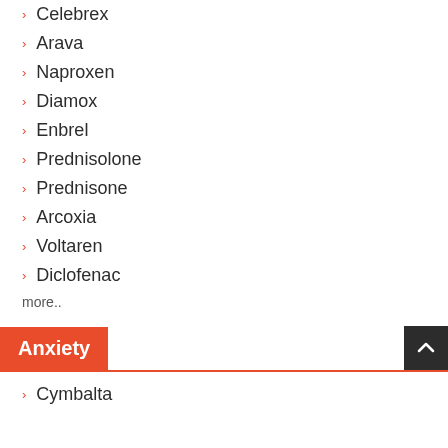Celebrex
Arava
Naproxen
Diamox
Enbrel
Prednisolone
Prednisone
Arcoxia
Voltaren
Diclofenac
more..
Anxiety
Cymbalta